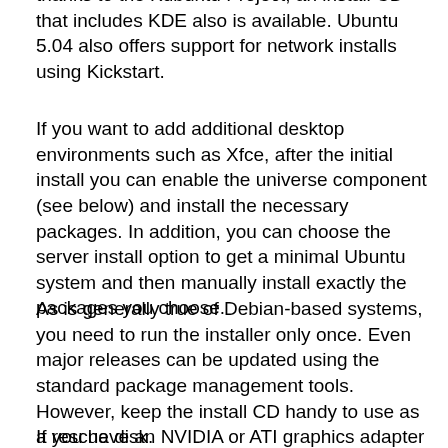thanks to the Kubuntu Project, an install CD that includes KDE also is available. Ubuntu 5.04 also offers support for network installs using Kickstart.
If you want to add additional desktop environments such as Xfce, after the initial install you can enable the universe component (see below) and install the necessary packages. In addition, you can choose the server install option to get a minimal Ubuntu system and then manually install exactly the packages you choose.
As is generally true of Debian-based systems, you need to run the installer only once. Even major releases can be updated using the standard package management tools. However, keep the install CD handy to use as a rescue disk.
If you have an NVIDIA or ATI graphics adapter and you want to use the vendor's proprietary binary